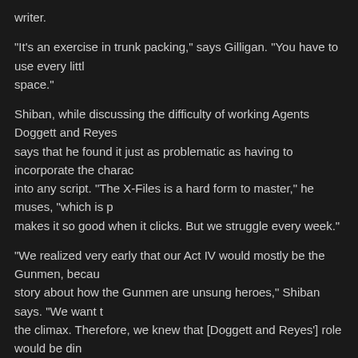writer.
“It’s an exercise in trunk packing,” says Gilligan. “You have to use every little space.”
Shiban, while discussing the difficulty of working Agents Doggett and Reyes says that he found it just as problematic as having to incorporate the characters into any script. “The X-Files is a hard form to master,” he muses, “which is p makes it so good when it clicks. But we struggle every week.”
“We realized very early that our Act IV would mostly be the Gunmen, becau story about how the Gunmen are unsung heroes,” Shiban says. “We want t the climax. Therefore, we knew that [Doggett and Reyes’] role would be din point, and that made it easier in some ways.”
The producers are happy with the final script as a tribute to the Gunmen, bu fan reaction will undoubtedly be mixed. “Some will hate us for it,” predicts S ones who say they hate the idea will cry when they see it.”
“At the end of the day, if the fans of The Lone Gunmen series are the ones enough for me,” sighs Gilligan. Although he hopes that all X-philes will enjo some morsel of completion for the fans of the canceled series. “They stuck